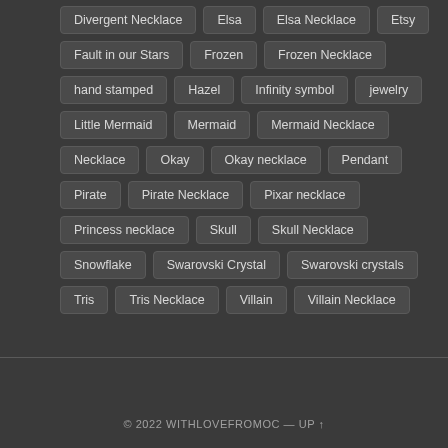Divergent Necklace | Elsa | Elsa Necklace | Etsy | Fault in our Stars | Frozen | Frozen Necklace | hand stamped | Hazel | Infinity symbol | jewelry | Little Mermaid | Mermaid | Mermaid Necklace | Necklace | Okay | Okay necklace | Pendant | Pirate | Pirate Necklace | Pixar necklace | Princess necklace | Skull | Skull Necklace | Snowflake | Swarovski Crystal | Swarovski crystals | Tris | Tris Necklace | Villain | Villain Necklace
© 2022 WITHLOVEFROMOC — UP ↑